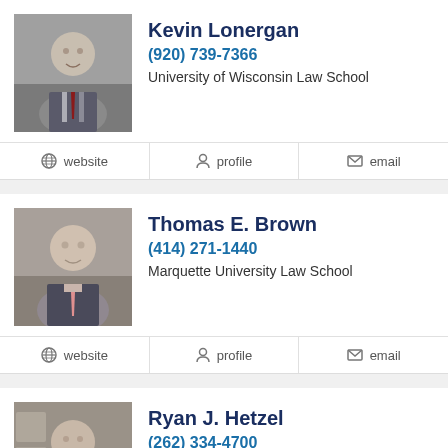[Figure (photo): Headshot photo of Kevin Lonergan, older man in suit]
Kevin Lonergan
(920) 739-7366
University of Wisconsin Law School
website  profile  email
[Figure (photo): Headshot photo of Thomas E. Brown, older man in suit]
Thomas E. Brown
(414) 271-1440
Marquette University Law School
website  profile  email
[Figure (photo): Headshot photo of Ryan J. Hetzel, man in suit]
Ryan J. Hetzel
(262) 334-4700
Marquette University Law School
website  profile  email